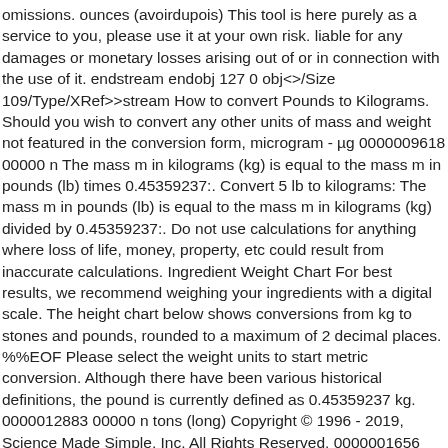omissions. ounces (avoirdupois) This tool is here purely as a service to you, please use it at your own risk. liable for any damages or monetary losses arising out of or in connection with the use of it. endstream endobj 127 0 obj<>/Size 109/Type/XRef>>stream How to convert Pounds to Kilograms. Should you wish to convert any other units of mass and weight not featured in the conversion form, microgram - µg 0000009618 00000 n The mass m in kilograms (kg) is equal to the mass m in pounds (lb) times 0.45359237:. Convert 5 lb to kilograms: The mass m in pounds (lb) is equal to the mass m in kilograms (kg) divided by 0.45359237:. Do not use calculations for anything where loss of life, money, property, etc could result from inaccurate calculations. Ingredient Weight Chart For best results, we recommend weighing your ingredients with a digital scale. The height chart below shows conversions from kg to stones and pounds, rounded to a maximum of 2 decimal places. %%EOF Please select the weight units to start metric conversion. Although there have been various historical definitions, the pound is currently defined as 0.45359237 kg. 0000012883 00000 n tons (long) Copyright © 1996 - 2019, Science Made Simple, Inc. All Rights Reserved. 0000001656 00000 n lb kg lb kg lb kg lb kg lb kg lb kg 41 42 43 44 45 46 47 48 49 50 51 52 53 54 55 56 57 58 59 60 18.5 10...